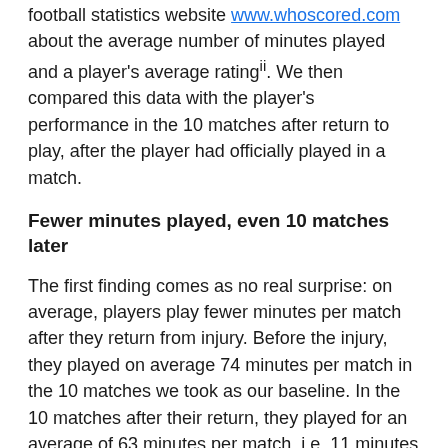football statistics website www.whoscored.com about the average number of minutes played and a player's average ratingⁿⁿ. We then compared this data with the player's performance in the 10 matches after return to play, after the player had officially played in a match.
Fewer minutes played, even 10 matches later
The first finding comes as no real surprise: on average, players play fewer minutes per match after they return from injury. Before the injury, they played on average 74 minutes per match in the 10 matches we took as our baseline. In the 10 matches after their return, they played for an average of 63 minutes per match, i.e. 11 minutes less.
Even more interesting, the difference in average is not only because the player is carefully 'managed'